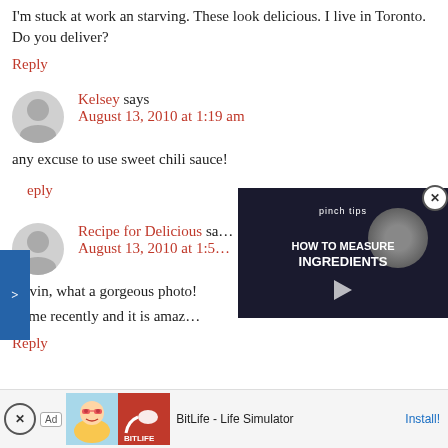I'm stuck at work an starving. These look delicious. I live in Toronto. Do you deliver?
Reply
Kelsey says
August 13, 2010 at 1:19 am
any excuse to use sweet chili sauce!
Reply
Recipe for Delicious says
August 13, 2010 at 1:5…
Kevin, what a gorgeous photo!
t time recently and it is amaz…
Reply
[Figure (screenshot): Video overlay showing 'pinch tips HOW TO MEASURE INGREDIENTS' tutorial with play button]
[Figure (screenshot): Ad banner for BitLife - Life Simulator with Install button]